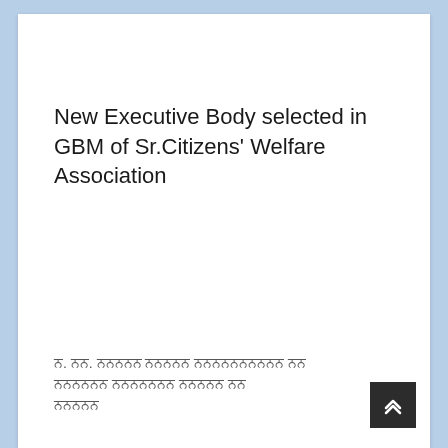New Executive Body selected in GBM of Sr.Citizens' Welfare Association
ਨ. ਨਨ. ਨਨਨਨਨ ਨਨਨਨਨ ਨਨਨਨਨਨਨਨਨਨ ਨਨ ਨਨਨਨਨਨ ਨਨਨਨਨਨਨ ਨਨਨਨਨ ਨਨ ਨਨਨਨਨ